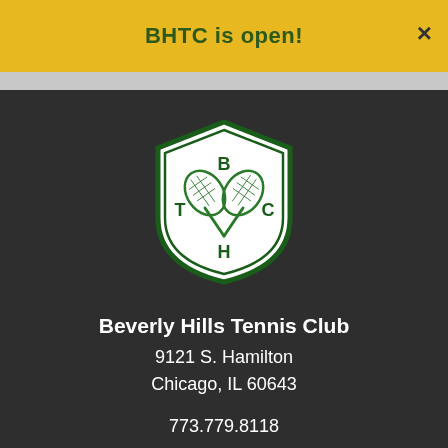BHTC is open!
[Figure (logo): Beverly Hills Tennis Club shield logo with crossed tennis rackets and letters B, T, C, H in dark green on white shield with green border]
Beverly Hills Tennis Club
9121 S. Hamilton
Chicago, IL 60643
773.779.8118
EMAIL